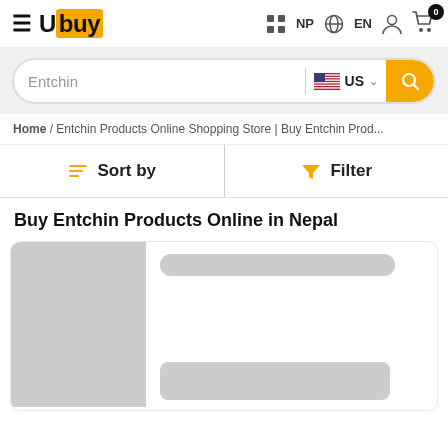[Figure (screenshot): Ubuy e-commerce website header with hamburger menu, Ubuy logo (U in orange box), NP flag/text, EN globe/text, user icon, and cart icon with badge 0]
[Figure (screenshot): Search bar with text 'Entchin', US flag selector, and orange search button]
Home / Entchin Products Online Shopping Store | Buy Entchin Prod...
Sort by   Filter
Buy Entchin Products Online in Nepal
[Figure (screenshot): Product listing card with gray image placeholder on the left and gray title/price placeholders on the right]